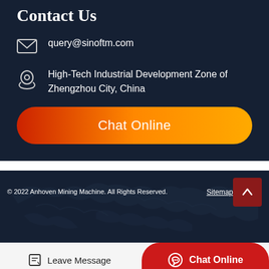Contact Us
query@sinoftm.com
High-Tech Industrial Development Zone of Zhengzhou City, China
Chat Online
© 2022 Anhoven Mining Machine. All Rights Reserved.   Sitemap
Leave Message
Chat Online